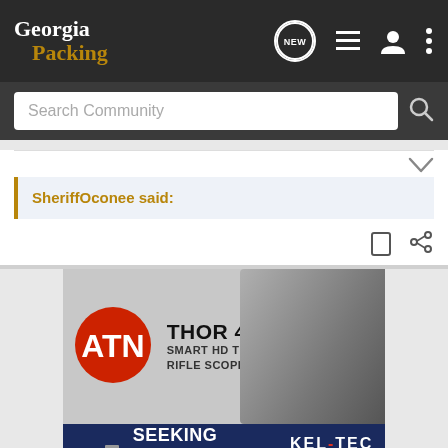Georgia Packing
Search Community
SheriffOconee said:
[Figure (screenshot): ATN Thor 4 Series Smart HD Thermal Rifle Scope advertisement banner with ATN logo and rifle scope image]
[Figure (screenshot): Kel-Tec CP33 Pistol advertisement banner with text: SEEKING LONG RANGE RELATIONSHIP]